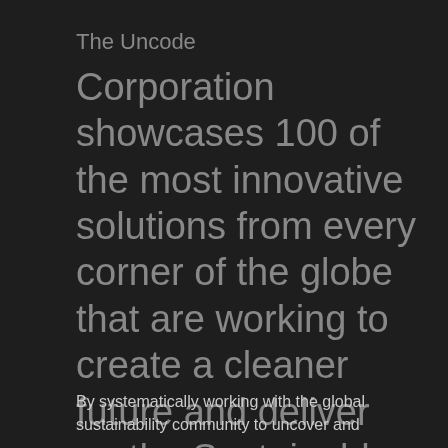The Uncode
Corporation showcases 100 of the most innovative solutions from every corner of the globe that are working to create a cleaner future and deliver on the Sustainable Development Goals.
By systematically working with the global sustainability community to uncover and